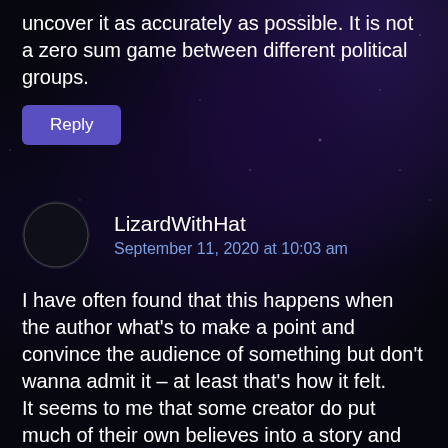uncover it as accurately as possible. It is not a zero sum game between different political groups.
Reply
LizardWithHat
September 11, 2020 at 10:03 am
I have often found that this happens when the author what's to make a point and convince the audience of something but don't wanna admit it – at least that's how it felt.
It seems to me that some creator do put much of their own believes into a story and then wanna frame it as neutral.